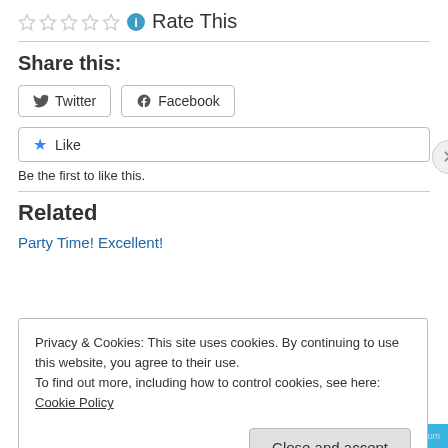Rate This
Share this:
Twitter
Facebook
Like
Be the first to like this.
Related
Party Time! Excellent!
Privacy & Cookies: This site uses cookies. By continuing to use this website, you agree to their use.
To find out more, including how to control cookies, see here: Cookie Policy
Close and accept